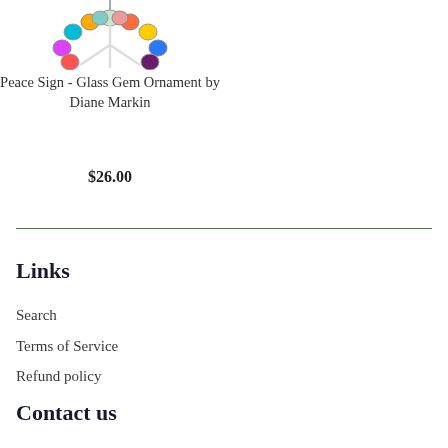[Figure (photo): Colorful glass gem peace sign ornament with multiple colored glass beads arranged in a circular peace symbol shape, partially visible at top of page]
Peace Sign - Glass Gem Ornament by Diane Markin
$26.00
Links
Search
Terms of Service
Refund policy
Contact us